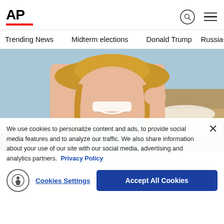AP
Trending News  Midterm elections  Donald Trump  Russia-Ukr
[Figure (photo): Woman in floral swimsuit and sun hat holding a credit card at the beach, smiling]
We use cookies to personalize content and ads, to provide social media features and to analyze our traffic. We also share information about your use of our site with our social media, advertising and analytics partners. Privacy Policy
Cookies Settings  Accept All Cookies